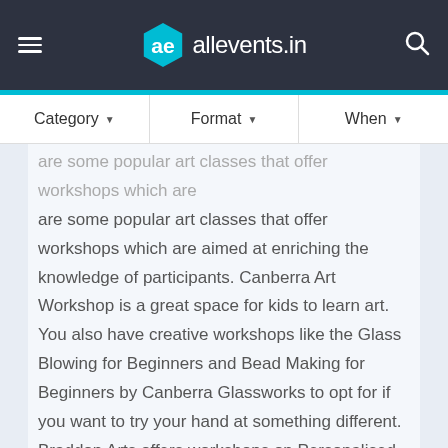[Figure (logo): allevents.in website header/navigation bar with hamburger menu icon on left, allevents.in logo in center (teal hexagon with 'ae' and white text), and search icon on right, on dark navy background]
[Figure (other): Filter bar with Category, Format, and When dropdown options]
are some popular art classes that offer workshops which are aimed at enriching the knowledge of participants. Canberra Art Workshop is a great space for kids to learn art. You also have creative workshops like the Glass Blowing for Beginners and Bead Making for Beginners by Canberra Glassworks to opt for if you want to try your hand at something different. Braddon Arts offers workshops on Personalised Pop Arts Portraits.
Art Museums And Art Gallery In Canberra
Canberra Museum and Gallery is an art gallery. Canberra